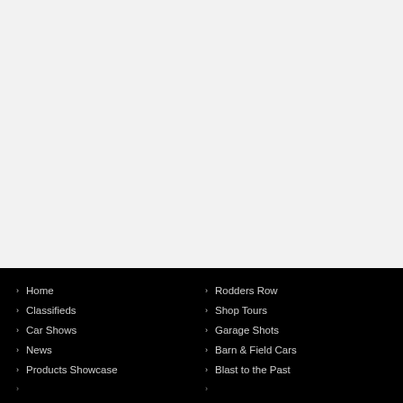[Figure (other): Large white/light gray blank area occupying the top portion of the page]
Home
Classifieds
Car Shows
News
Products Showcase
Rodders Row
Shop Tours
Garage Shots
Barn & Field Cars
Blast to the Past